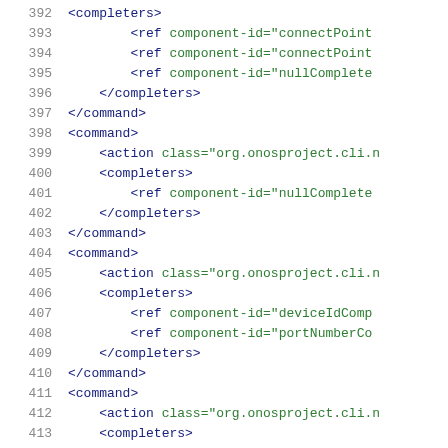Source code listing lines 392-413 showing XML configuration with command, action, completers, and ref elements